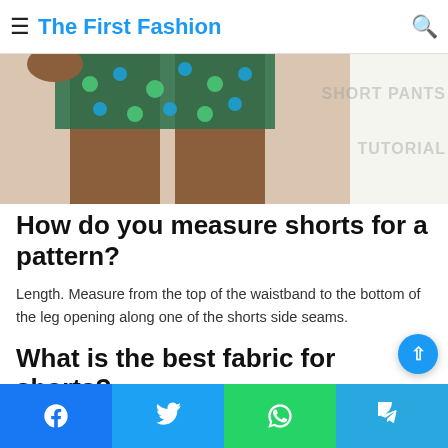The First Fashion
[Figure (photo): Lower body of a person wearing patterned colorful short pants, with watermark text 'SHORT PANTS TUTORIAL' visible in the background]
How do you measure shorts for a pattern?
Length. Measure from the top of the waistband to the bottom of the leg opening along one of the shorts side seams.
What is the best fabric for shorts?
Social share bar: Facebook, Twitter, WhatsApp, Telegram